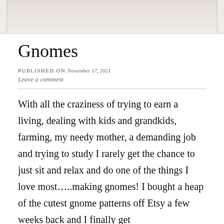[Figure (photo): Partial view of a gnome or craft item photo at the top of the blog post, cropped at the top]
Gnomes
PUBLISHED ON November 17, 2021
Leave a comment
With all the craziness of trying to earn a living, dealing with kids and grandkids, farming, my needy mother, a demanding job and trying to study I rarely get the chance to just sit and relax and do one of the things I love most…..making gnomes! I bought a heap of the cutest gnome patterns off Etsy a few weeks back and I finally get